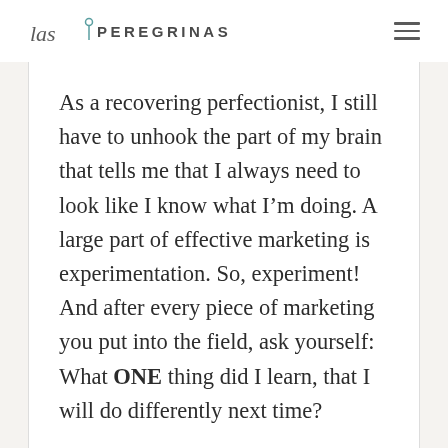las PEREGRINAS
As a recovering perfectionist, I still have to unhook the part of my brain that tells me that I always need to look like I know what I’m doing. A large part of effective marketing is experimentation. So, experiment! And after every piece of marketing you put into the field, ask yourself: What ONE thing did I learn, that I will do differently next time?